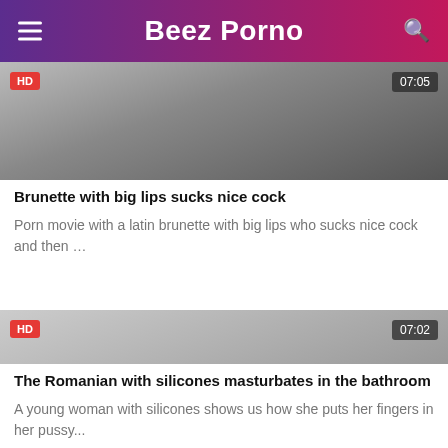Beez Porno
[Figure (photo): Video thumbnail showing a brunette woman with HD badge and 07:05 duration badge]
Brunette with big lips sucks nice cock
Porn movie with a latin brunette with big lips who sucks nice cock and then …
[Figure (photo): Video thumbnail with HD badge and 07:02 duration badge]
The Romanian with silicones masturbates in the bathroom
A young woman with silicones shows us how she puts her fingers in her pussy...